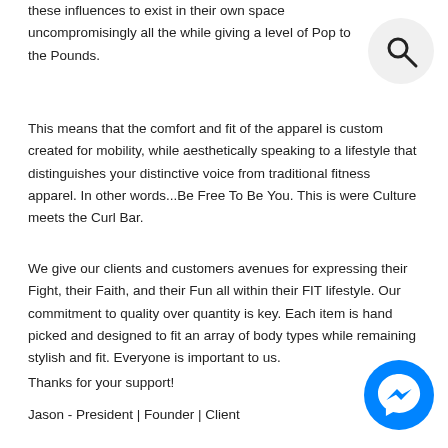these influences to exist in their own space uncompromisingly all the while giving a level of Pop to the Pounds.
This means that the comfort and fit of the apparel is custom created for mobility, while aesthetically speaking to a lifestyle that distinguishes your distinctive voice from traditional fitness apparel. In other words...Be Free To Be You. This is were Culture meets the Curl Bar.
We give our clients and customers avenues for expressing their Fight, their Faith, and their Fun all within their FIT lifestyle. Our commitment to quality over quantity is key. Each item is hand picked and designed to fit an array of body types while remaining stylish and fit. Everyone is important to us.
Thanks for your support!
Jason - President | Founder | Client
[Figure (illustration): Search icon - magnifying glass inside a light gray circle]
[Figure (logo): Facebook Messenger logo - blue circle with white lightning bolt messenger icon]